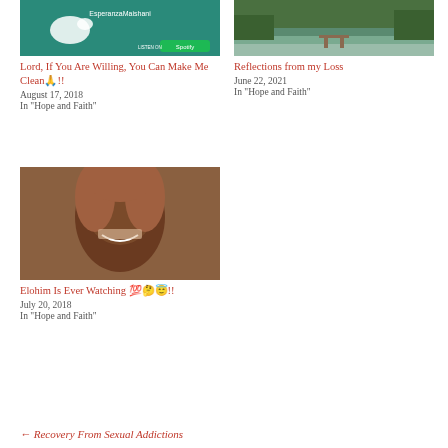[Figure (photo): Album cover with teal/green background, text EsperanzaMaishani, Spotify logo]
Lord, If You Are Willing, You Can Make Me Clean🙏!!
August 17, 2018
In "Hope and Faith"
[Figure (photo): Scenic lake with dock and forest reflection]
Reflections from my Loss
June 22, 2021
In "Hope and Faith"
[Figure (photo): Portrait of a young Black woman with braided hair, smiling]
Elohim Is Ever Watching 💯🤔😇!!
July 20, 2018
In "Hope and Faith"
← Recovery From Sexual Addictions